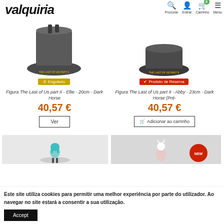[Figure (logo): Valquiria store logo in bold italic font]
Procurar  Entrar  Carrinho  Menu
[Figure (photo): Figura The Last of Us part II - Ellie figurine on dark base, marked Esgotado (sold out)]
Figura The Last of Us part II - Ellie - 20cm - Dark Horse
40,57 €
[Figure (photo): Figura The Last of Us part II - Abby figurine base, marked Produto de Reserva]
Figura The Last of Us part II - Abby - 23cm - Dark Horse (Pré-
40,57 €
[Figure (photo): Anime figure with teal hair on white marble background]
[Figure (photo): Anime figure with fox character on grey background with red circular badge]
Este site utiliza cookies para permitir uma melhor experiência por parte do utilizador. Ao navegar no site estará a consentir a sua utilização.